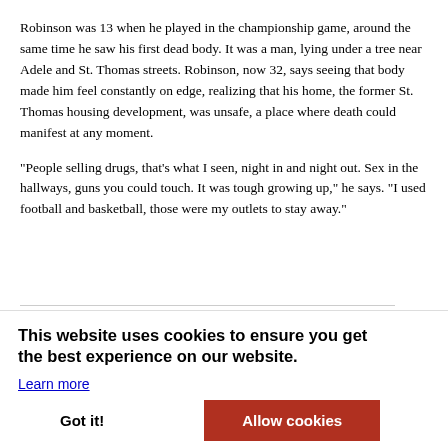Robinson was 13 when he played in the championship game, around the same time he saw his first dead body. It was a man, lying under a tree near Adele and St. Thomas streets. Robinson, now 32, says seeing that body made him feel constantly on edge, realizing that his home, the former St. Thomas housing development, was unsafe, a place where death could manifest at any moment.
“People selling drugs, that’s what I seen, night in and night out. Sex in the hallways, guns you could touch. It was tough growing up,” he says. “I used football and basketball, those were my outlets to stay away.”
edicated onship team to death in the ars ago. al, though the
This website uses cookies to ensure you get the best experience on our website. Learn more
Got it!
Allow cookies